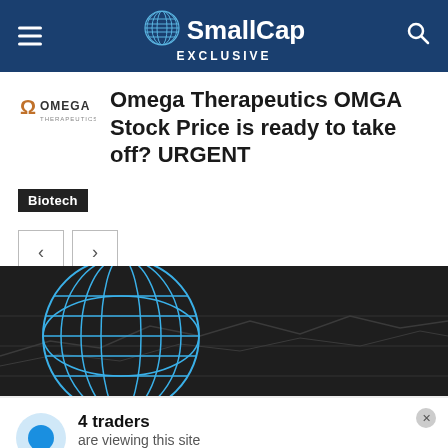SmallCap EXCLUSIVE
Omega Therapeutics OMGA Stock Price is ready to take off? URGENT
Biotech
[Figure (screenshot): Dark banner with SmallCap Exclusive globe logo on dark background with trading chart lines]
4 traders are viewing this site verified by Proof